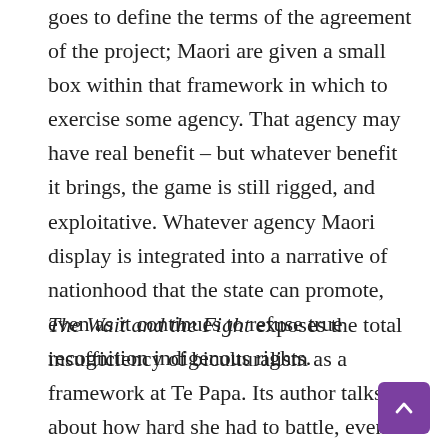goes to define the terms of the agreement of the project; Maori are given a small box within that framework in which to exercise some agency. That agency may have real benefit – but whatever benefit it brings, the game is still rigged, and exploitative. Whatever agency Maori display is integrated into a narrative of nationhood that the state can promote, even as it continues to refuse true recognition indigenous rights.
The Wait and the Fight exposes the total insufficiency of biculturalism as a framework at Te Papa. Its author talks about how hard she had to battle, even to gain reasonable representation within an already limited space.